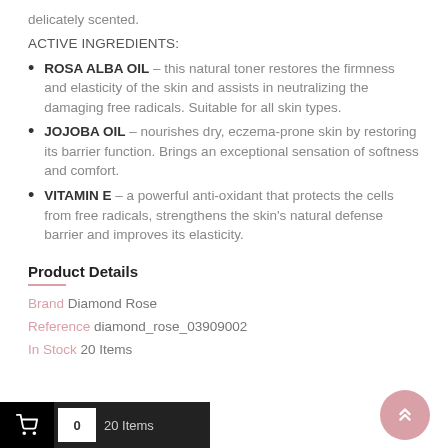delicately scented.
ACTIVE INGREDIENTS:
ROSA ALBA OIL – this natural toner restores the firmness and elasticity of the skin and assists in neutralizing the damaging free radicals. Suitable for all skin types.
JOJOBA OIL – nourishes dry, eczema-prone skin by restoring its barrier function. Brings an exceptional sensation of softness and comfort.
VITAMIN E – a powerful anti-oxidant that protects the cells from free radicals, strengthens the skin's natural defense barrier and improves its elasticity.
Product Details
Brand Diamond Rose
Reference diamond_rose_03909002
In Stock 20 Items